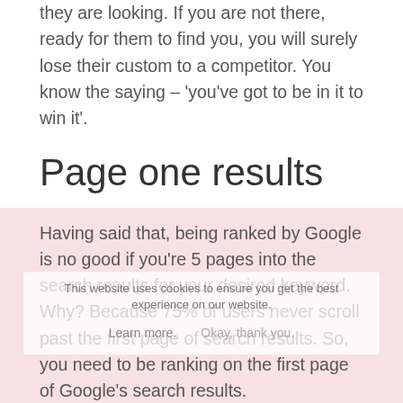they are looking. If you are not there, ready for them to find you, you will surely lose their custom to a competitor. You know the saying – 'you've got to be in it to win it'.
Page one results
Having said that, being ranked by Google is no good if you're 5 pages into the search results for your desired keyword. Why? Because 75% of users never scroll past the first page of search results. So, you need to be ranking on the first page of Google's search results.